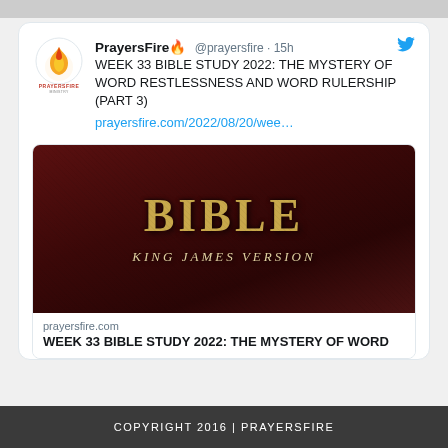[Figure (screenshot): Twitter/social media post screenshot from PrayersFire (@prayersfire) posted 15 hours ago. Post text: 'WEEK 33 BIBLE STUDY 2022: THE MYSTERY OF WORD RESTLESSNESS AND WORD RULERSHIP (PART 3)' with link prayersfire.com/2022/08/20/wee… and a Bible image (King James Version cover) preview card showing domain prayersfire.com and title preview 'WEEK 33 BIBLE STUDY 2022: THE MYSTERY OF WORD']
COPYRIGHT 2016 | PRAYERSFIRE